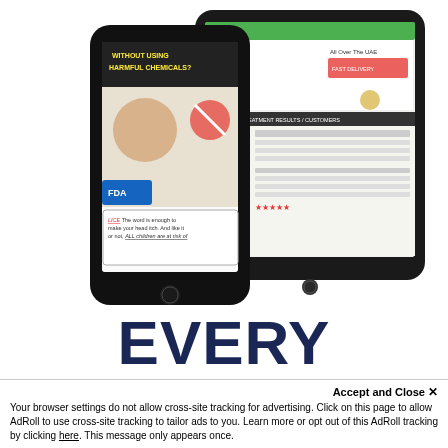[Figure (screenshot): Screenshot showing a smartphone and tablet displaying marketing/health product web pages. The phone shows a page about head lice treatment without harmful chemicals with FDA branding. The tablet shows a product sales page with 'FREE CASH ON DELIVERY' offer.]
EVERY FUNNEL COMES WITH
Accept and Close ✕
Your browser settings do not allow cross-site tracking for advertising. Click on this page to allow AdRoll to use cross-site tracking to tailor ads to you. Learn more or opt out of this AdRoll tracking by clicking here. This message only appears once.